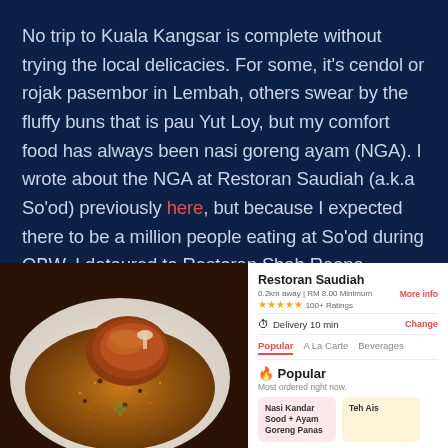No trip to Kuala Kangsar is complete without trying the local delicacies. For some, it's cendol or rojak pasembor in Lembah, others swear by the fluffy buns that is pau Yut Loy, but my comfort food has always been nasi goreng ayam (NGA). I wrote about the NGA at Restoran Saudiah (a.k.a So'od) previously here, but because I expected there to be a million people eating at So'od during OBW, I detoured to Restoran Shah Reena instead.
[Figure (photo): A plate of nasi goreng ayam (fried rice with chicken) garnished with a cucumber slice, served on a white plate]
[Figure (screenshot): Screenshot of a food delivery app showing Restoran Saudiah listing with 5-star ratings, 100+ ratings, 0.2km away, RM 8.00 minimum, delivery 10 min, with menu tabs showing Popular, A La Carte, Beverages, and menu items including Nasi Kandar Sood + Ayam Goreng Panas and Teh Ais]